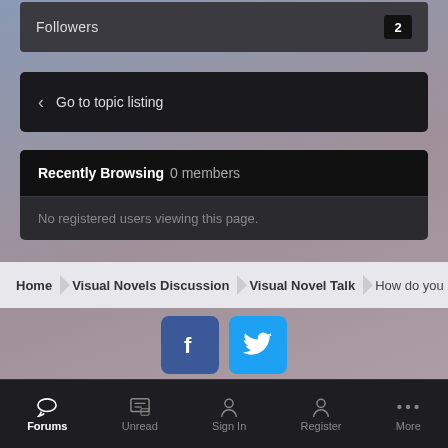Followers  2
< Go to topic listing
Recently Browsing   0 members
No registered users viewing this page.
Home  >  Visual Novels Discussion  >  Visual Novel Talk  >  How do you pre
[Figure (logo): Facebook and Twitter social media icon buttons]
IPS Theme by IPSFocus   Theme ▾   Contact Us
Powered by Invision Community
Forums  Unread  Sign In  Register  More